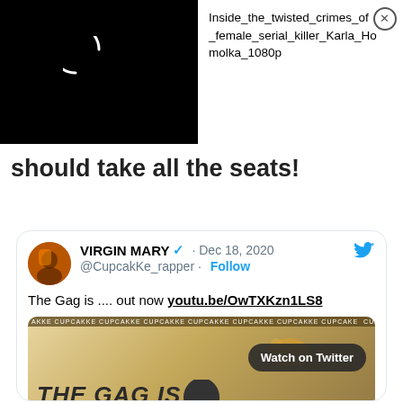[Figure (screenshot): Video suggestion overlay with black thumbnail showing loading spinner and title 'Inside_the_twisted_crimes_of_female_serial_killer_Karla_Homolka_1080p' with close button]
should take all the seats!
[Figure (screenshot): Tweet from VIRGIN MARY (@CupcakKe_rapper) dated Dec 18, 2020 saying 'The Gag is .... out now youtu.be/OwTXKzn1LS8' with embedded media showing 'THE GAG IS' album art with Watch on Twitter button]